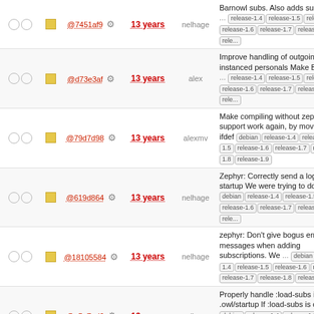| checks | sq | hash | gear | age | author | message |
| --- | --- | --- | --- | --- | --- | --- |
| ○○ | □ | @7451af9 | ⚙ | 13 years | nelhage | Barnowl subs. Also adds suppo... release-1.4 release-1.5 rele... release-1.6 release-1.7 release-1.8 rele... |
| ○○ | □ | @d73e3af | ⚙ | 13 years | alex | Improve handling of outgoing instanced personals Make Bar... ... release-1.4 release-1.5 releas... release-1.6 release-1.7 release-1.8 rele... |
| ○○ | □ | @79d7d98 | ⚙ | 13 years | alexmv | Make compiling without zephyr support work again, by moving ifdef debian release-1.4 release- 1.5 release-1.6 release-1.7 rele... release-1.8 release-1.9 |
| ○○ | □ | @619d864 | ⚙ | 13 years | nelhage | Zephyr: Correctly send a login at startup We were trying to do... debian release-1.4 release-1.5 ... release-1.6 release-1.7 release-1.8 rele... |
| ○○ | □ | @18105584 | ⚙ | 13 years | nelhage | zephyr: Don't give bogus error messages when adding subscriptions. We ... debian n... 1.4 release-1.5 release-1.6 relea... release-1.7 release-1.8 release-1.9 |
| ○○ | □ | @a5e7ed6 | ⚙ | 13 years | nelhage | Properly handle :load-subs in .owl/startup If :load-subs is call... debian release-1.4 release-1.5 ... release-1.6 release-1.7 release-1.8 rele... |
| ○○ | □ | @d21efbc | ⚙ | 13 years | nelhage | Correctly load .anyone files ove... 3000 users. More importantly, ... debian release-1.4 release-1.5 ... release-1.6 release-1.7 release-1.8 rele... |
| ○○ | □ | @0cff2b4 | ⚙ | 13 years | nelhage | Fix a memory leak loading Zep... subscriptions. debian release- 1.4 release-1.5 release-1.6 rele... 1.7 release-1.8 release-1.9 |